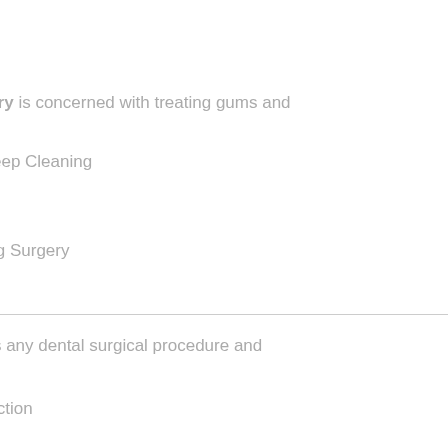Dentistry is concerned with treating gums and s.
ng & Deep Cleaning
ny
aft
gthening Surgery
ng
involves any dental surgical procedure and
ction
th extraction
ants
ng